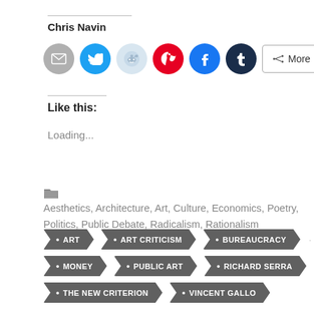Chris Navin
[Figure (infographic): Social sharing buttons: Email (grey), Twitter (blue), Reddit (light blue), Pinterest (red), Facebook (blue), Tumblr (dark navy), and a More button]
Like this:
Loading...
Aesthetics, Architecture, Art, Culture, Economics, Poetry, Politics, Public Debate, Radicalism, Rationalism
ART
ART CRITICISM
BUREAUCRACY
MONEY
PUBLIC ART
RICHARD SERRA
THE NEW CRITERION
VINCENT GALLO